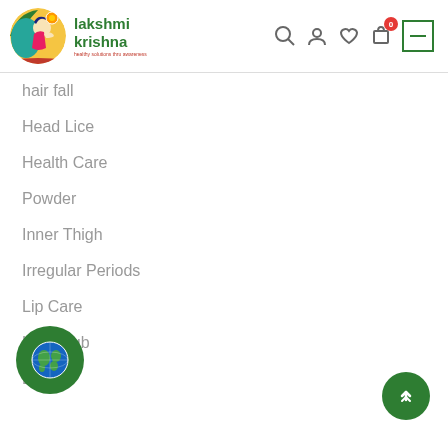lakshmi krishna
hair fall
Head Lice
Health Care
Powder
Inner Thigh
Irregular Periods
Lip Care
Lip Scrub
Low Calcium
Open Pore
Sanitary Napkins